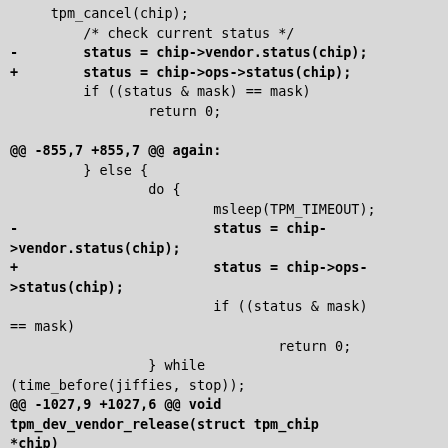/* check current status */
-        status = chip->vendor.status(chip);
+        status = chip->ops->status(chip);
         if ((status & mask) == mask)
                 return 0;

@@ -855,7 +855,7 @@ again:
         } else {
                 do {
                         msleep(TPM_TIMEOUT);
-                        status = chip-
>vendor.status(chip);
+                        status = chip->ops-
>status(chip);
                         if ((status & mask)
== mask)
                                 return 0;
                 } while
(time_before(jiffies, stop));
@@ -1027,9 +1027,6 @@ void
tpm_dev_vendor_release(struct tpm_chip
*chip)
         if (!chip)
                 return;